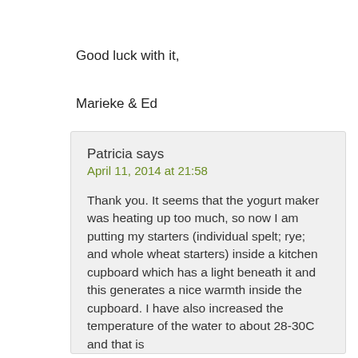Good luck with it,
Marieke & Ed
Patricia says
April 11, 2014 at 21:58
Thank you. It seems that the yogurt maker was heating up too much, so now I am putting my starters (individual spelt; rye; and whole wheat starters) inside a kitchen cupboard which has a light beneath it and this generates a nice warmth inside the cupboard. I have also increased the temperature of the water to about 28-30C and that is